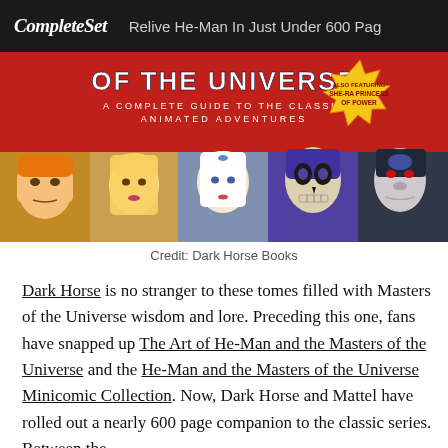CompleteSet   Relive He-Man In Just Under 600 Pag
[Figure (illustration): Book cover image for 'Masters of the Universe: A Complete Guide to the Classic Animated Adventures' featuring animated characters including He-Man, She-Ra, and Skeletor on a red background. Also featuring She-Ra Princess of Power badge.]
Credit: Dark Horse Books
Dark Horse is no stranger to these tomes filled with Masters of the Universe wisdom and lore. Preceding this one, fans have snapped up The Art of He-Man and the Masters of the Universe and the He-Man and the Masters of the Universe Minicomic Collection. Now, Dark Horse and Mattel have rolled out a nearly 600 page companion to the classic series. Between the